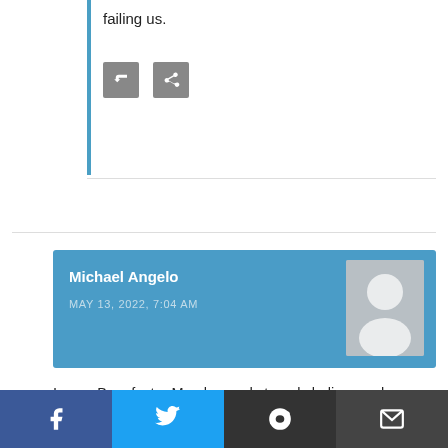failing us.
[Figure (other): Two small icon buttons (reply/share) in the top comment section]
Michael Angelo
MAY 13, 2022, 7:04 AM
[Figure (illustration): Generic user avatar silhouette on blue background]
I am a Benefactor Member and strongly believe a change would freshen the entire picture. I also believe the discord and rot was planted to destroy the NRA from the inside. I vote for West even if LaPierre wasn't totally wrong.
[Figure (other): Social sharing bar with Facebook, Twitter, Reddit, and Email buttons]